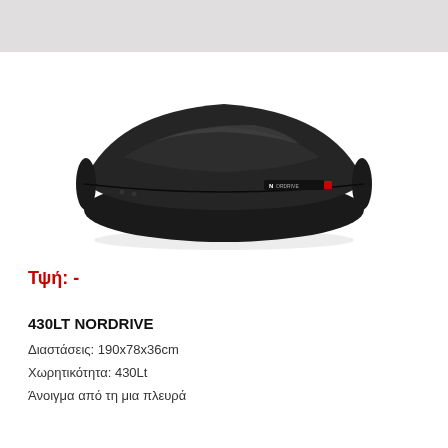[Figure (photo): Black roof box cargo carrier (430Lt Nordrive), aerodynamic shape, matte black finish, side view on white background]
Τψή: -
430LT NORDRIVE
Διαστάσεις: 190x78x36cm
Χωρητικότητα: 430Lt
Άνοιγμα από τη μια πλευρά